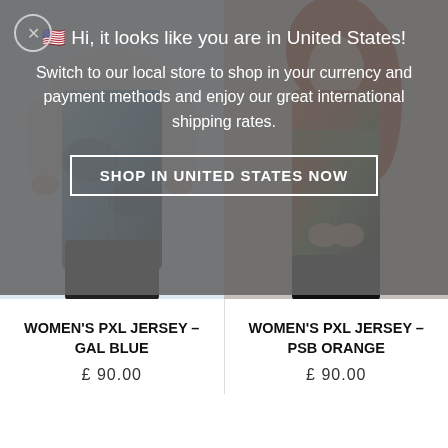[Figure (screenshot): Modal overlay: US flag emoji, greeting text 'Hi, it looks like you are in United States!', invitation to switch store for local currency and payment methods with international shipping rates, and a 'SHOP IN UNITED STATES NOW' button. Below are two product images of women's cycling jerseys.]
🇺🇸 Hi, it looks like you are in United States! Switch to our local store to shop in your currency and payment methods and enjoy our great international shipping rates.
SHOP IN UNITED STATES NOW
[Figure (photo): Women's cycling jersey in blue/sky pattern (Gal Blue) worn by a model]
[Figure (photo): Women's cycling jersey in orange/green pattern (PSB Orange) worn by a model]
WOMEN'S PXL JERSEY – GAL BLUE
£ 90.00
WOMEN'S PXL JERSEY – PSB ORANGE
£ 90.00